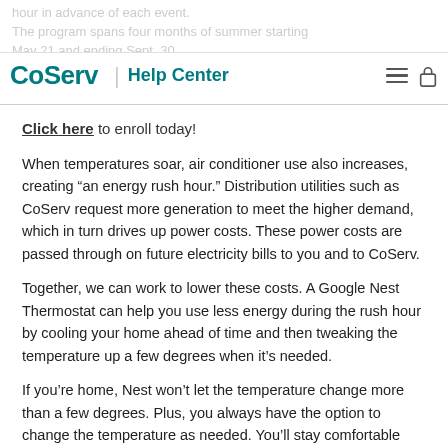hour in advance of each event. The program spans four months of summer starting May 21 and ending Sept. 30. | CoServ Help Center
Click here to enroll today!
When temperatures soar, air conditioner use also increases, creating “an energy rush hour.” Distribution utilities such as CoServ request more generation to meet the higher demand, which in turn drives up power costs. These power costs are passed through on future electricity bills to you and to CoServ.
Together, we can work to lower these costs. A Google Nest Thermostat can help you use less energy during the rush hour by cooling your home ahead of time and then tweaking the temperature up a few degrees when it’s needed.
If you’re home, Nest won’t let the temperature change more than a few degrees. Plus, you always have the option to change the temperature as needed. You’ll stay comfortable